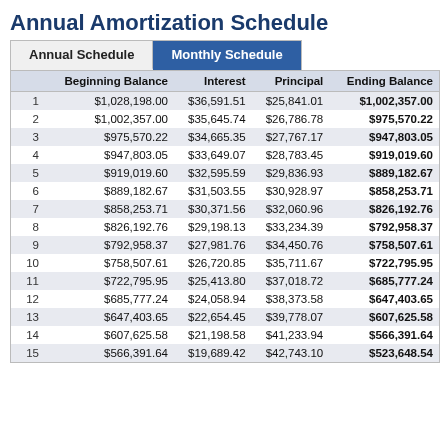Annual Amortization Schedule
|  | Beginning Balance | Interest | Principal | Ending Balance |
| --- | --- | --- | --- | --- |
| 1 | $1,028,198.00 | $36,591.51 | $25,841.01 | $1,002,357.00 |
| 2 | $1,002,357.00 | $35,645.74 | $26,786.78 | $975,570.22 |
| 3 | $975,570.22 | $34,665.35 | $27,767.17 | $947,803.05 |
| 4 | $947,803.05 | $33,649.07 | $28,783.45 | $919,019.60 |
| 5 | $919,019.60 | $32,595.59 | $29,836.93 | $889,182.67 |
| 6 | $889,182.67 | $31,503.55 | $30,928.97 | $858,253.71 |
| 7 | $858,253.71 | $30,371.56 | $32,060.96 | $826,192.76 |
| 8 | $826,192.76 | $29,198.13 | $33,234.39 | $792,958.37 |
| 9 | $792,958.37 | $27,981.76 | $34,450.76 | $758,507.61 |
| 10 | $758,507.61 | $26,720.85 | $35,711.67 | $722,795.95 |
| 11 | $722,795.95 | $25,413.80 | $37,018.72 | $685,777.24 |
| 12 | $685,777.24 | $24,058.94 | $38,373.58 | $647,403.65 |
| 13 | $647,403.65 | $22,654.45 | $39,778.07 | $607,625.58 |
| 14 | $607,625.58 | $21,198.58 | $41,233.94 | $566,391.64 |
| 15 | $566,391.64 | $19,689.42 | $42,743.10 | $523,648.54 |